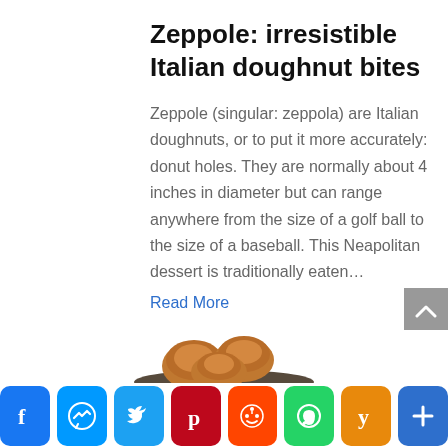Zeppole: irresistible Italian doughnut bites
Zeppole (singular: zeppola) are Italian doughnuts, or to put it more accurately: donut holes. They are normally about 4 inches in diameter but can range anywhere from the size of a golf ball to the size of a baseball. This Neapolitan dessert is traditionally eaten...
Read More
[Figure (photo): Partial view of zeppole doughnuts in a bowl]
[Figure (infographic): Social share bar with Facebook, Messenger, Twitter, Pinterest, Reddit, WhatsApp, Yummly, and More buttons]